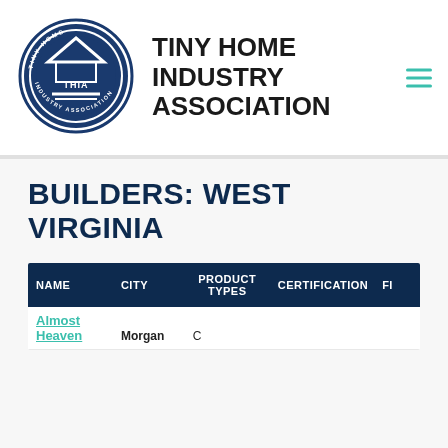[Figure (logo): Tiny Home Industry Association circular seal logo with house/triangle icon and text THIA in center, surrounded by text TINY HOME INDUSTRY ASSOCIATION]
TINY HOME INDUSTRY ASSOCIATION
BUILDERS: WEST VIRGINIA
| NAME | CITY | PRODUCT TYPES | CERTIFICATION | FI |
| --- | --- | --- | --- | --- |
| Almost Heaven | Morgan | C |  |  |